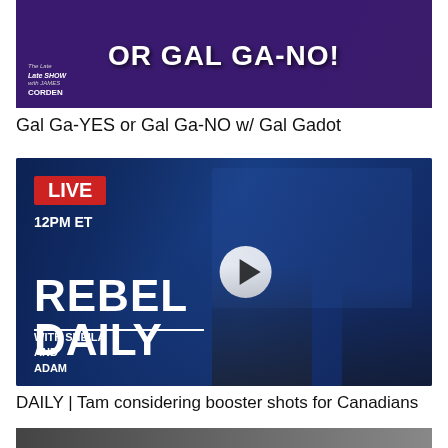[Figure (screenshot): TV show thumbnail with purple background showing text 'OR GAL GA-NO!' with Late Late Show with James Corden logo]
Gal Ga-YES or Gal Ga-NO w/ Gal Gadot
[Figure (screenshot): Rebel Daily livestream thumbnail showing LIVE 12PM ET badge, two hosts (woman with glasses and man), text 'REBEL DAILY WITH SHEILA AND ADAM' on blue background with government building]
DAILY | Tam considering booster shots for Canadians
[Figure (screenshot): Partial third thumbnail at bottom of page]